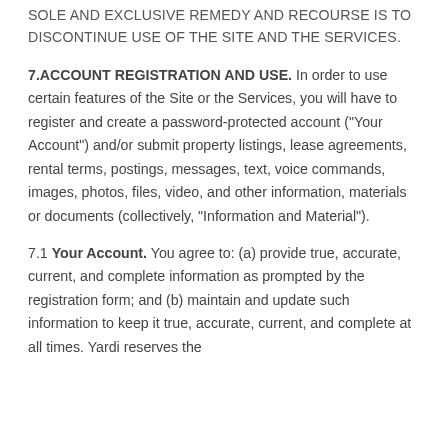SOLE AND EXCLUSIVE REMEDY AND RECOURSE IS TO DISCONTINUE USE OF THE SITE AND THE SERVICES.
7.ACCOUNT REGISTRATION AND USE.
In order to use certain features of the Site or the Services, you will have to register and create a password-protected account ("Your Account") and/or submit property listings, lease agreements, rental terms, postings, messages, text, voice commands, images, photos, files, video, and other information, materials or documents (collectively, "Information and Material").
7.1 Your Account. You agree to: (a) provide true, accurate, current, and complete information as prompted by the registration form; and (b) maintain and update such information to keep it true, accurate, current, and complete at all times. Yardi reserves the